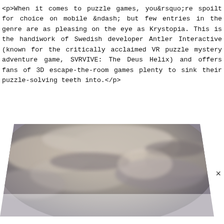<p>When it comes to puzzle games, you&rsquo;re spoilt for choice on mobile &ndash; but few entries in the genre are as pleasing on the eye as Krystopia. This is the handiwork of Swedish developer Antler Interactive (known for the critically acclaimed VR puzzle mystery adventure game, SVRVIVE: The Deus Helix) and offers fans of 3D escape-the-room games plenty to sink their puzzle-solving teeth into.</p>
[Figure (photo): A moody, atmospheric image of a cloudy sky with dark and light tones, rounded arch shape at top, partially obscured by a white overlay at the bottom.]